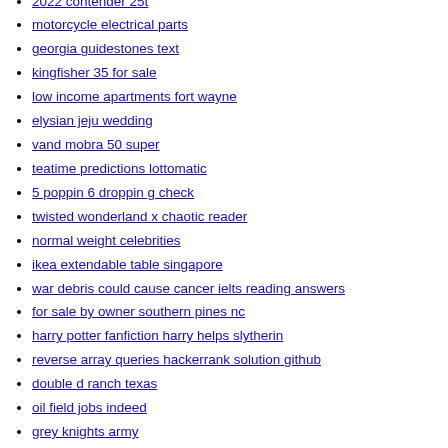2022 contender 25t
motorcycle electrical parts
georgia guidestones text
kingfisher 35 for sale
low income apartments fort wayne
elysian jeju wedding
vand mobra 50 super
teatime predictions lottomatic
5 poppin 6 droppin g check
twisted wonderland x chaotic reader
normal weight celebrities
ikea extendable table singapore
war debris could cause cancer ielts reading answers
for sale by owner southern pines nc
harry potter fanfiction harry helps slytherin
reverse array queries hackerrank solution github
double d ranch texas
oil field jobs indeed
grey knights army
study hack predicted paper chemistry
joadja railway
all the mods 6 quest book
indesit f12 error code fix
1971 cadillac fleetwood for sale
gmu chemistry tutoring
second hand high end speakers for sale